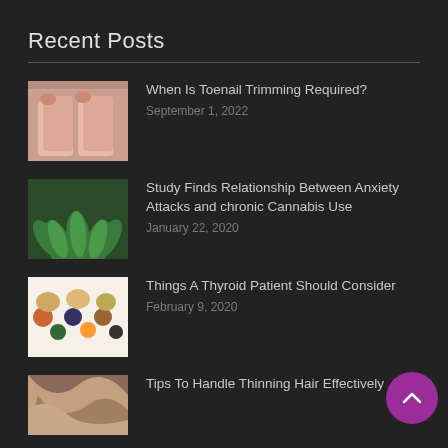Recent Posts
When Is Toenail Trimming Required?
September 1, 2022
Study Finds Relationship Between Anxiety Attacks and chronic Cannabis Use
January 22, 2020
Things A Thyroid Patient Should Consider
February 9, 2020
Tips To Handle Thinning Hair Effectively